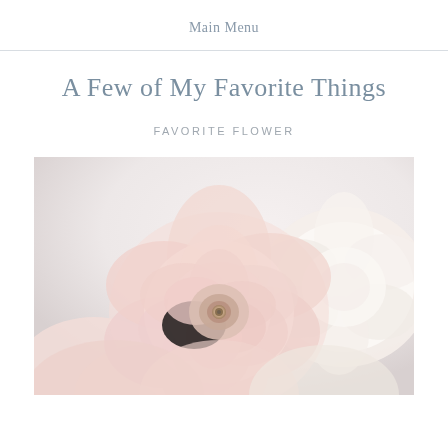Main Menu
A Few of My Favorite Things
FAVORITE FLOWER
[Figure (photo): Close-up photograph of soft pink and cream ranunculus flowers with layered petals, against a light background]